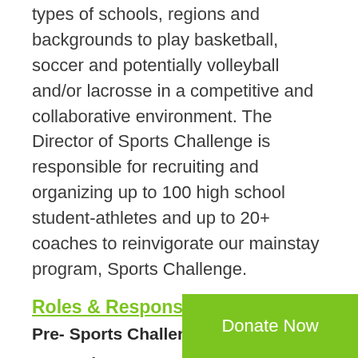types of schools, regions and backgrounds to play basketball, soccer and potentially volleyball and/or lacrosse in a competitive and collaborative environment. The Director of Sports Challenge is responsible for recruiting and organizing up to 100 high school student-athletes and up to 20+ coaches to reinvigorate our mainstay program, Sports Challenge.
Roles & Responsibilities:
Pre- Sports Challenge:
Recruit
Identify and attend